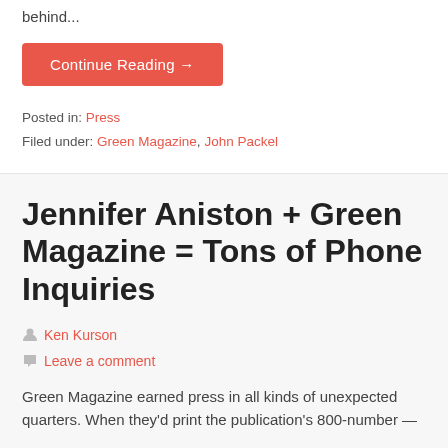behind...
Continue Reading →
Posted in: Press
Filed under: Green Magazine, John Packel
Jennifer Aniston + Green Magazine = Tons of Phone Inquiries
Ken Kurson
Leave a comment
Green Magazine earned press in all kinds of unexpected quarters. When they'd print the publication's 800-number —